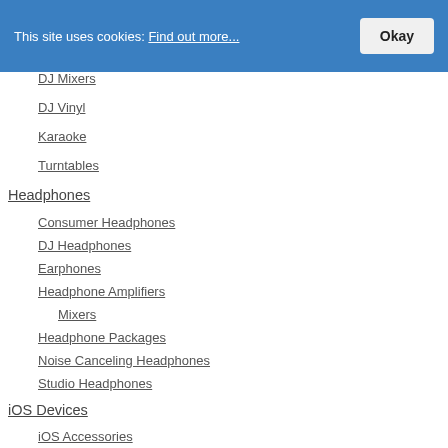This site uses cookies: Find out more... Okay
DJ Mixers
DJ Vinyl
Karaoke
Turntables
Headphones
Consumer Headphones
DJ Headphones
Earphones
Headphone Amplifiers
Mixers
Headphone Packages
Noise Canceling Headphones
Studio Headphones
iOS Devices
iOS Accessories
iOS Audio
iOS DJ Gear